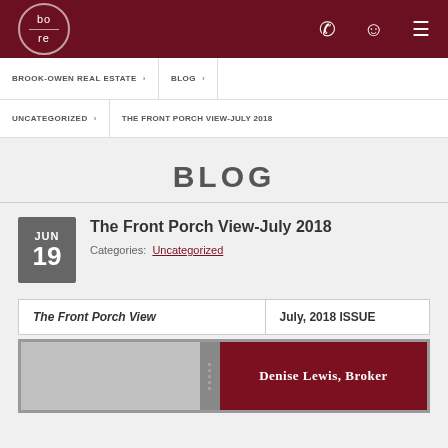bo re (logo) | phone icon | profile icon | menu icon
BROOK-OWEN REAL ESTATE › | BLOG ›
UNCATEGORIZED › | THE FRONT PORCH VIEW-JULY 2018
BLOG
JUN 19 - The Front Porch View-July 2018
Categories: Uncategorized
| The Front Porch View | July, 2018 ISSUE |
| --- | --- |
[Figure (other): Newsletter preview with dark red right panel showing 'Denise Lewis, Broker' text]